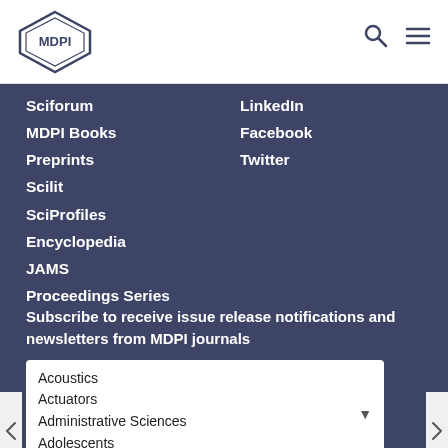[Figure (logo): MDPI hexagonal logo in blue/grey outline with text MDPI]
MDPI website header with logo, search icon, and menu icon
Sciforum
MDPI Books
Preprints
Scilit
SciProfiles
Encyclopedia
JAMS
Proceedings Series
LinkedIn
Facebook
Twitter
Subscribe to receive issue release notifications and newsletters from MDPI journals
Acoustics
Actuators
Administrative Sciences
Adolescents
Advances in Respiratory Medicine...